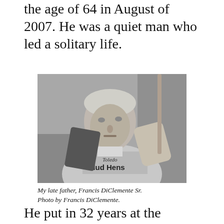the age of 64 in August of 2007. He was a quiet man who led a solitary life.
[Figure (photo): Black and white photograph of an elderly man wearing a Toledo Mud Hens shirt, looking directly at the camera.]
My late father, Francis DiClemente Sr. Photo by Francis DiClemente.
He put in 32 years at the